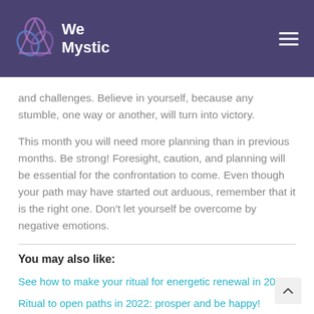We Mystic
and challenges. Believe in yourself, because any stumble, one way or another, will turn into victory.
This month you will need more planning than in previous months. Be strong! Foresight, caution, and planning will be essential for the confrontation to come. Even though your path may have started out arduous, remember that it is the right one. Don't let yourself be overcome by negative emotions.
You may also like:
See how to make your ritual for energetic renewal in 2022
Ritual to open paths in 2022: prosper and be happy!